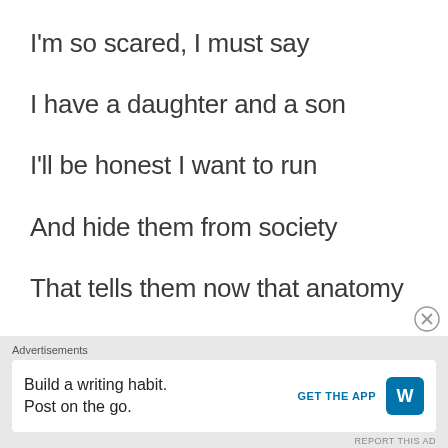I'm so scared, I must say
I have a daughter and a son
I'll be honest I want to run
And hide them from society
That tells them now that anatomy
Is something that you can decide
Advertisements
Build a writing habit. Post on the go.
GET THE APP
REPORT THIS AD